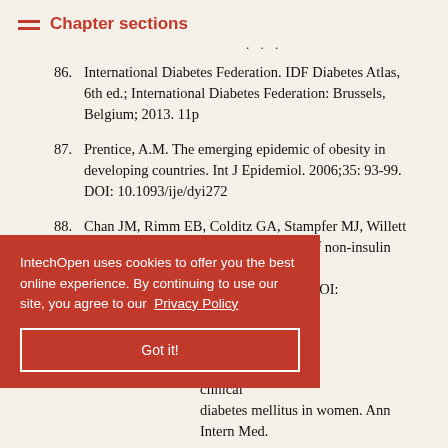Chapter sections
...
86. International Diabetes Federation. IDF Diabetes Atlas, 6th ed.; International Diabetes Federation: Brussels, Belgium; 2013. 11p
87. Prentice, A.M. The emerging epidemic of obesity in developing countries. Int J Epidemiol. 2006;35: 93-99. DOI: 10.1093/ije/dyi272
88. Chan JM, Rimm EB, Colditz GA, Stampfer MJ, Willett WC. Obesity, fat distribution, and [risk of non-insulin-dependent] diabetes in [men. Ann Intern Med. 1994;121:1-]59. DOI: [...]
89. [...] A, Manson [...] clinical diabetes mellitus in women. Ann Intern Med.
IntechOpen uses cookies to offer you the best online experience. By continuing to use our site, you agree to our Privacy Policy
Got it!